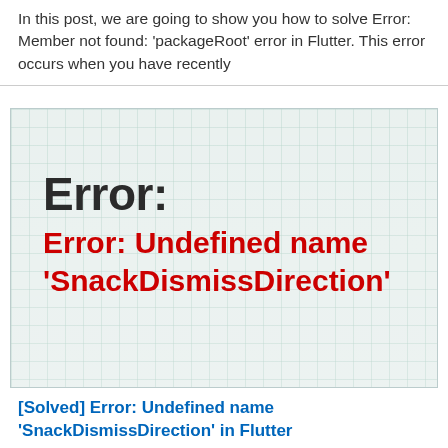In this post, we are going to show you how to solve Error: Member not found: 'packageRoot' error in Flutter. This error occurs when you have recently
[Figure (screenshot): Grid paper background image showing an error message. Bold dark text reads 'Error:' followed by red bold text reading 'Error: Undefined name ‘SnackDismissDirection’']
[Solved] Error: Undefined name ‘SnackDismissDirection’ in Flutter